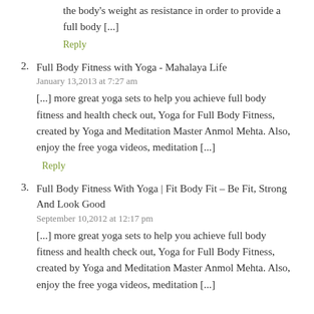the body's weight as resistance in order to provide a full body [...]
Reply
2. Full Body Fitness with Yoga - Mahalaya Life
January 13,2013 at 7:27 am
[...] more great yoga sets to help you achieve full body fitness and health check out, Yoga for Full Body Fitness, created by Yoga and Meditation Master Anmol Mehta. Also, enjoy the free yoga videos, meditation [...]
Reply
3. Full Body Fitness With Yoga | Fit Body Fit – Be Fit, Strong And Look Good
September 10,2012 at 12:17 pm
[...] more great yoga sets to help you achieve full body fitness and health check out, Yoga for Full Body Fitness, created by Yoga and Meditation Master Anmol Mehta. Also, enjoy the free yoga videos, meditation [...]